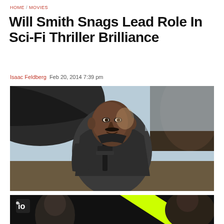HOME / MOVIES
Will Smith Snags Lead Role In Sci-Fi Thriller Brilliance
Isaac Feldberg  Feb 20, 2014 7:39 pm
[Figure (photo): Will Smith in a dark flight jacket, sitting against a large dark aircraft or wing, looking at camera with a slight smile. Blue sky visible in background.]
[Figure (photo): Partial view of a second image: dark background with a green/yellow diagonal stripe and partial view of a person's head. A small logo visible in the top-left corner.]